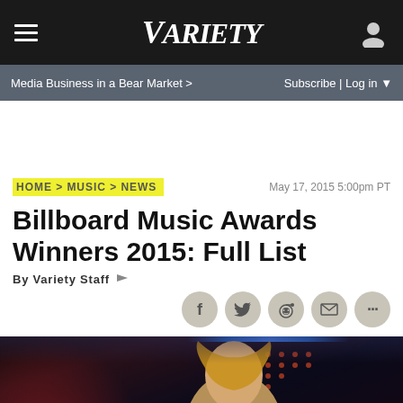VARIETY
Media Business in a Bear Market > | Subscribe | Log in
HOME > MUSIC > NEWS
May 17, 2015 5:00pm PT
Billboard Music Awards Winners 2015: Full List
By Variety Staff
[Figure (photo): Woman at Billboard Music Awards 2015 on stage, photo by Variety]